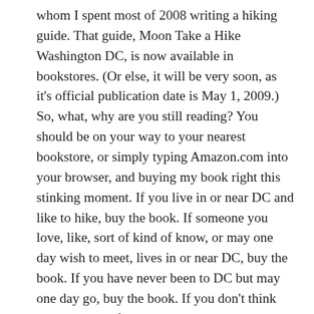whom I spent most of 2008 writing a hiking guide. That guide, Moon Take a Hike Washington DC, is now available in bookstores. (Or else, it will be very soon, as it's official publication date is May 1, 2009.) So, what, why are you still reading? You should be on your way to your nearest bookstore, or simply typing Amazon.com into your browser, and buying my book right this stinking moment. If you live in or near DC and like to hike, buy the book. If someone you love, like, sort of kind of know, or may one day wish to meet, lives in or near DC, buy the book. If you have never been to DC but may one day go, buy the book. If you don't think you'll ever set foot in DC and/or hate the great outdoors, buy the book anyways. Why? Because I wrote it. Because it's good. Because you know me (or at least know my blog). Because it has nice photos. Because I worked really, really hard on it. Because I spent practically every single weekend between March and August hiking hundreds and